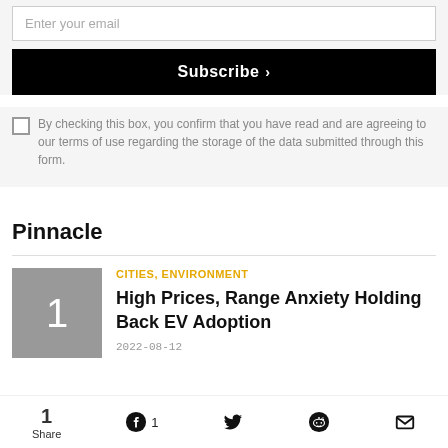Enter your email
Subscribe >
By checking this box, you confirm that you have read and are agreeing to our terms of use regarding the storage of the data submitted through this form.
Pinnacle
CITIES, ENVIRONMENT
High Prices, Range Anxiety Holding Back EV Adoption
2022-08-12
1 Share  Facebook 1  Twitter  Reddit  Email